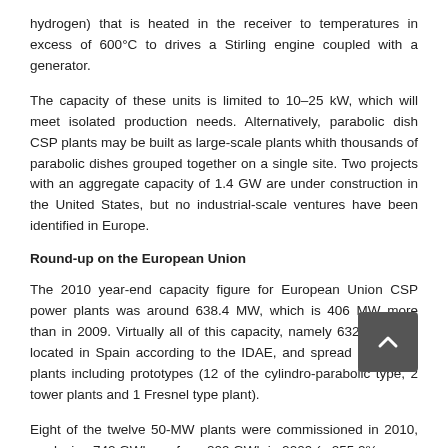hydrogen) that is heated in the receiver to temperatures in excess of 600°C to drives a Stirling engine coupled with a generator.
The capacity of these units is limited to 10–25 kW, which will meet isolated production needs. Alternatively, parabolic dish CSP plants may be built as large-scale plants whith thousands of parabolic dishes grouped together on a single site. Two projects with an aggregate capacity of 1.4 GW are under construction in the United States, but no industrial-scale ventures have been identified in Europe.
Round-up on the European Union
The 2010 year-end capacity figure for European Union CSP power plants was around 638.4 MW, which is 406 MW more than in 2009. Virtually all of this capacity, namely 632.4 MW, is located in Spain according to the IDAE, and spread across 15 plants including prototypes (12 of the cylindro-parabolic type, 2 tower plants and 1 Fresnel type plant).
Eight of the twelve 50-MW plants were commissioned in 2010, producing 742 GWh, up from 209 GWh in 2009 (a 255.2%